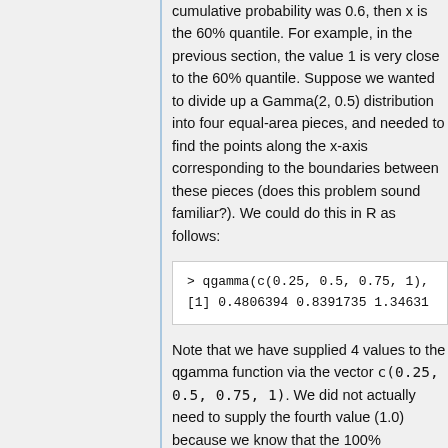cumulative probability was 0.6, then x is the 60% quantile. For example, in the previous section, the value 1 is very close to the 60% quantile. Suppose we wanted to divide up a Gamma(2, 0.5) distribution into four equal-area pieces, and needed to find the points along the x-axis corresponding to the boundaries between these pieces (does this problem sound familiar?). We could do this in R as follows:
> qgamma(c(0.25, 0.5, 0.75, 1),
[1] 0.4806394 0.8391735 1.34631
Note that we have supplied 4 values to the qgamma function via the vector c(0.25, 0.5, 0.75, 1). We did not actually need to supply the fourth value (1.0) because we know that the 100%